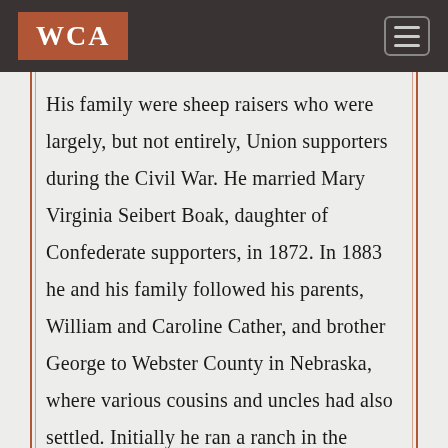WCA
His family were sheep raisers who were largely, but not entirely, Union supporters during the Civil War. He married Mary Virginia Seibert Boak, daughter of Confederate supporters, in 1872. In 1883 he and his family followed his parents, William and Caroline Cather, and brother George to Webster County in Nebraska, where various cousins and uncles had also settled. Initially he ran a ranch in the county but soon moved his family into the town of Red Cloud, where